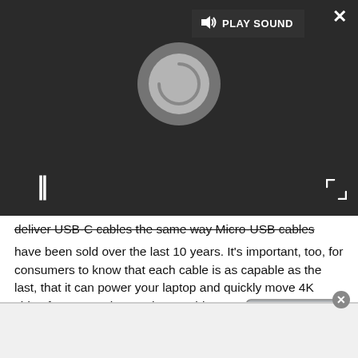[Figure (screenshot): Video player overlay on dark background (#2a2a2a) with 'PLAY SOUND' button at top center, a circular spinner/logo icon, pause (||) button at bottom left, expand icon at bottom right, and close (X) button at top right.]
deliver USB-C cables the same way Micro-USB cables have been sold over the last 10 years. It's important, too, for consumers to know that each cable is as capable as the last, that it can power your laptop and quickly move 4K video from your phone. These cables are doing more than any single cable like it has done before, and with that extra work comes the need for extra care in their manufacturing.
[Figure (photo): Partial product image of a small electronic device (labeled TOTALPHASE) in bottom right corner of article area.]
[Figure (screenshot): Bottom advertisement bar with light gray background and a circular close button on the top right edge.]